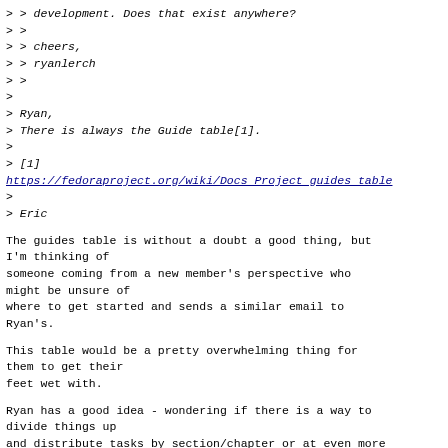> > development. Does that exist anywhere?
> >
> > cheers,
> > ryanlerch
> >
>
> Ryan,
> There is always the Guide table[1].
>
> [1]
https://fedoraproject.org/wiki/Docs_Project_guides_table
>
> Eric
The guides table is without a doubt a good thing, but I'm thinking of
someone coming from a new member's perspective who might be unsure of
where to get started and sends a similar email to Ryan's.
This table would be a pretty overwhelming thing for them to get their
feet wet with.
Ryan has a good idea - wondering if there is a way to divide things up
and distribute tasks by section/chapter or at even more granular levels
to quickly get new members more familiar with the